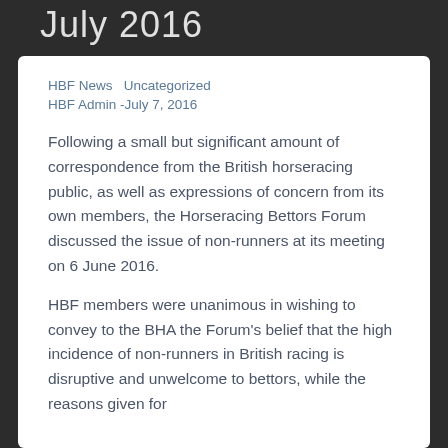July 2016
HBF News   Uncategorized
HBF Admin -July 7, 2016
Following a small but significant amount of correspondence from the British horseracing public, as well as expressions of concern from its own members, the Horseracing Bettors Forum discussed the issue of non-runners at its meeting on 6 June 2016.
HBF members were unanimous in wishing to convey to the BHA the Forum's belief that the high incidence of non-runners in British racing is disruptive and unwelcome to bettors, while the reasons given for